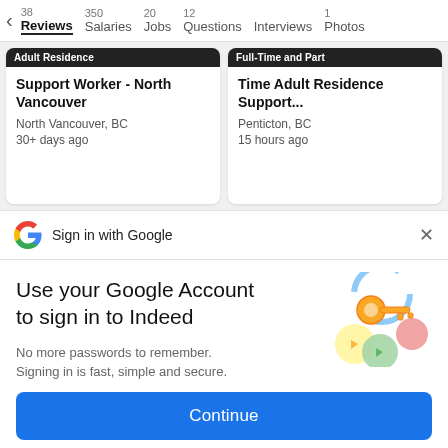38 Reviews  350 Salaries  20 Jobs  12 Questions  Interviews  1 Photos
Adult Residence Support Worker - North Vancouver
North Vancouver, BC
30+ days ago
Full-Time and Part-Time Adult Residence Support...
Penticton, BC
15 hours ago
Sign in with Google
Use your Google Account to sign in to Indeed
No more passwords to remember.
Signing in is fast, simple and secure.
[Figure (illustration): Google sign-in illustration with a golden key and colorful circular shapes]
Continue